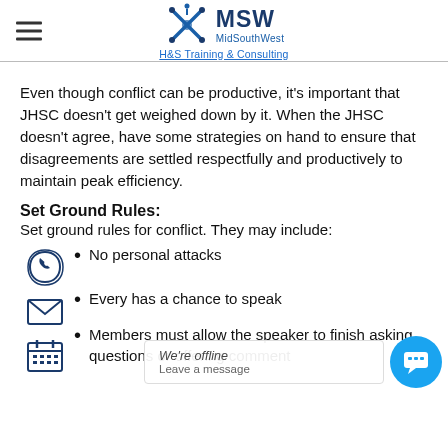MSW MidSouthWest H&S Training & Consulting
Even though conflict can be productive, it's important that JHSC doesn't get weighed down by it. When the JHSC doesn't agree, have some strategies on hand to ensure that disagreements are settled respectfully and productively to maintain peak efficiency.
Set Ground Rules:
Set ground rules for conflict. They may include:
No personal attacks
Every has a chance to speak
Members must allow the speaker to finish asking questions or offering comment